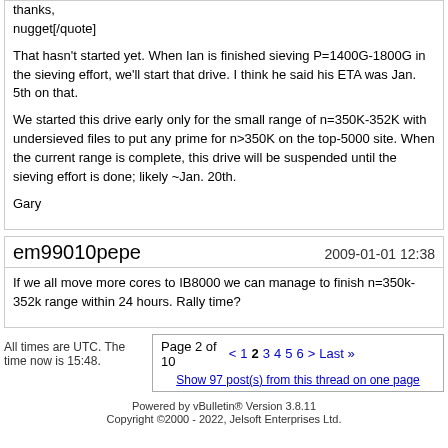thanks,
nugget[/quote]

That hasn't started yet. When Ian is finished sieving P=1400G-1800G in the sieving effort, we'll start that drive. I think he said his ETA was Jan. 5th on that.

We started this drive early only for the small range of n=350K-352K with undersieved files to put any prime for n>350K on the top-5000 site. When the current range is complete, this drive will be suspended until the sieving effort is done; likely ~Jan. 20th.

Gary
em99010pepe
If we all move more cores to IB8000 we can manage to finish n=350k-352k range within 24 hours. Rally time?
All times are UTC. The time now is 15:48.
Page 2 of 10  < 1 2 3 4 5 6 > Last »
Show 97 post(s) from this thread on one page
Powered by vBulletin® Version 3.8.11
Copyright ©2000 - 2022, Jelsoft Enterprises Ltd.